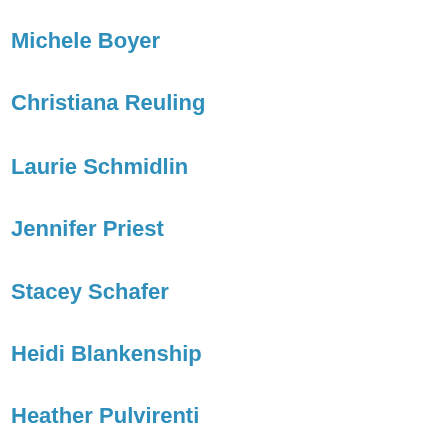Michele Boyer
Christiana Reuling
Laurie Schmidlin
Jennifer Priest
Stacey Schafer
Heidi Blankenship
Heather Pulvirenti